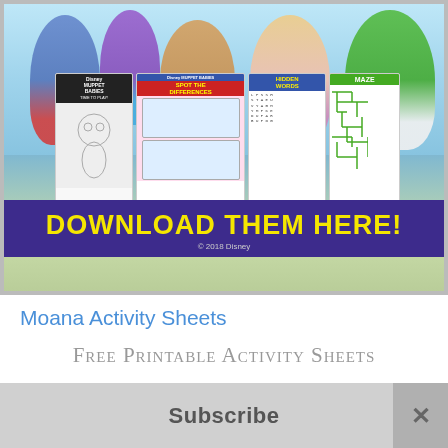[Figure (photo): Disney Muppet Babies characters (Gonzo, Summer, Fozzie, Miss Piggy, Kermit) gathered around a table with craft supplies. Below them are four activity sheets: a coloring page, a Spot the Differences page, a Hidden Words page, and a Maze page. A dark purple banner reads 'DOWNLOAD THEM HERE!' in large yellow bold text, with '© 2018 Disney' below.]
Moana Activity Sheets
Free Printable Activity Sheets
Subscribe